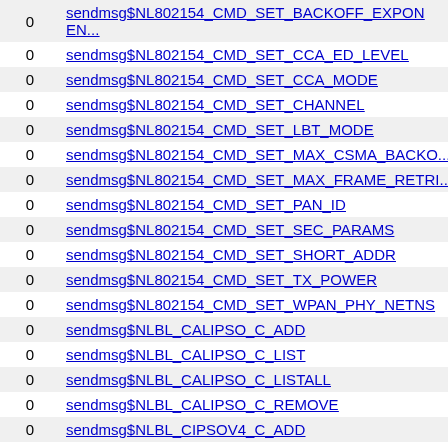|  |  |
| --- | --- |
| 0 | sendmsg$NL802154_CMD_SET_BACKOFF_EXPONENT |
| 0 | sendmsg$NL802154_CMD_SET_CCA_ED_LEVEL |
| 0 | sendmsg$NL802154_CMD_SET_CCA_MODE |
| 0 | sendmsg$NL802154_CMD_SET_CHANNEL |
| 0 | sendmsg$NL802154_CMD_SET_LBT_MODE |
| 0 | sendmsg$NL802154_CMD_SET_MAX_CSMA_BACKOFF |
| 0 | sendmsg$NL802154_CMD_SET_MAX_FRAME_RETRY |
| 0 | sendmsg$NL802154_CMD_SET_PAN_ID |
| 0 | sendmsg$NL802154_CMD_SET_SEC_PARAMS |
| 0 | sendmsg$NL802154_CMD_SET_SHORT_ADDR |
| 0 | sendmsg$NL802154_CMD_SET_TX_POWER |
| 0 | sendmsg$NL802154_CMD_SET_WPAN_PHY_NETNS |
| 0 | sendmsg$NLBL_CALIPSO_C_ADD |
| 0 | sendmsg$NLBL_CALIPSO_C_LIST |
| 0 | sendmsg$NLBL_CALIPSO_C_LISTALL |
| 0 | sendmsg$NLBL_CALIPSO_C_REMOVE |
| 0 | sendmsg$NLBL_CIPSOV4_C_ADD |
| 0 | sendmsg$NLBL_CIPSOV4_C_LIST |
| 0 | sendmsg$NLBL_CIPSOV4_C_LISTALL |
| 0 | sendmsg$NLBL_CIPSOV4_C_REMOVE |
| 0 | sendmsg$NLBL_MGMT_C_ADD |